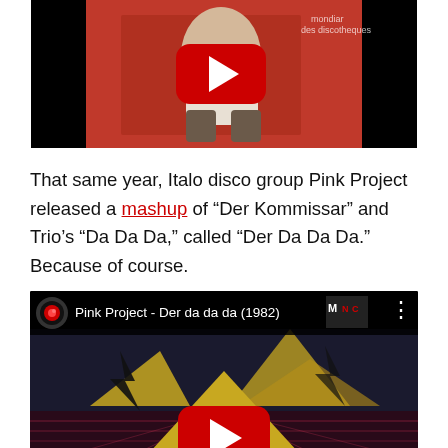[Figure (screenshot): YouTube video thumbnail showing a man seated against a red background with text 'mondiar des discotheques', with a YouTube play button overlay]
That same year, Italo disco group Pink Project released a mashup of “Der Kommissar” and Trio’s “Da Da Da,” called “Der Da Da Da.” Because of course.
[Figure (screenshot): YouTube video thumbnail for 'Pink Project - Der da da da (1982)' showing retro-futuristic geometric shapes with gold triangles, an illuminati-style eye, and a YouTube play button overlay. MNC logo visible top right.]